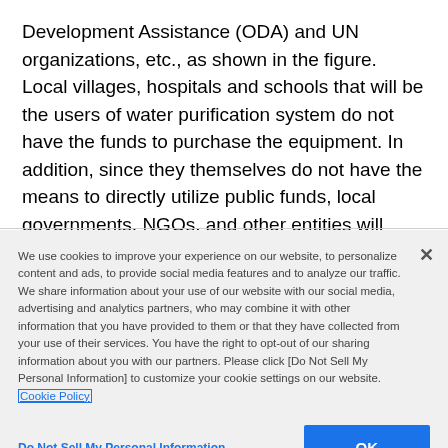Development Assistance (ODA) and UN organizations, etc., as shown in the figure. Local villages, hospitals and schools that will be the users of water purification system do not have the funds to purchase the equipment. In addition, since they themselves do not have the means to directly utilize public funds, local governments, NGOs, and other entities will become actual users of public funds as purchasers.
We use cookies to improve your experience on our website, to personalize content and ads, to provide social media features and to analyze our traffic. We share information about your use of our website with our social media, advertising and analytics partners, who may combine it with other information that you have provided to them or that they have collected from your use of their services. You have the right to opt-out of our sharing information about you with our partners. Please click [Do Not Sell My Personal Information] to customize your cookie settings on our website. Cookie Policy
Do Not Sell My Personal Information
OK